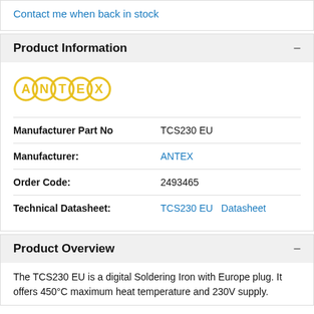Contact me when back in stock
Product Information
[Figure (logo): ANTEX logo in yellow with chain-link letter styling]
| Manufacturer Part No | TCS230 EU |
| Manufacturer: | ANTEX |
| Order Code: | 2493465 |
| Technical Datasheet: | TCS230 EU   Datasheet |
Product Overview
The TCS230 EU is a digital Soldering Iron with Europe plug. It offers 450°C maximum heat temperature and 230V supply.